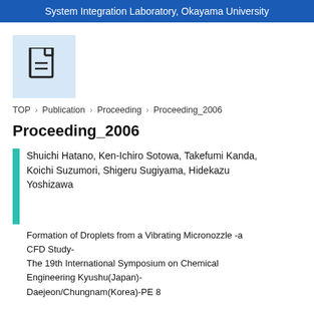System Integration Laboratory, Okayama University
[Figure (illustration): Document icon on light blue background]
TOP › Publication › Proceeding › Proceeding_2006
Proceeding_2006
Shuichi Hatano, Ken-Ichiro Sotowa, Takefumi Kanda, Koichi Suzumori, Shigeru Sugiyama, Hidekazu Yoshizawa
Formation of Droplets from a Vibrating Micronozzle -a CFD Study-
The 19th International Symposium on Chemical Engineering Kyushu(Japan)-
Daejeon/Chungnam(Korea)
PE 8